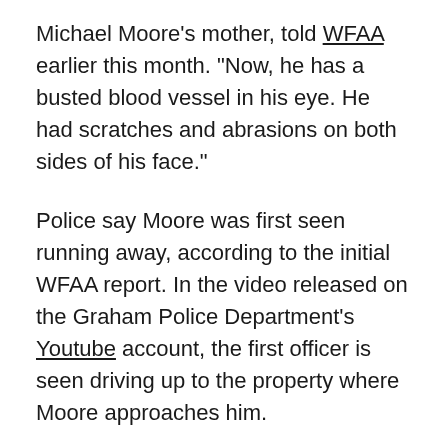Michael Moore's mother, told WFAA earlier this month. "Now, he has a busted blood vessel in his eye. He had scratches and abrasions on both sides of his face."
Police say Moore was first seen running away, according to the initial WFAA report. In the video released on the Graham Police Department's Youtube account, the first officer is seen driving up to the property where Moore approaches him.
The officer asks Moore if he has any identification on him, to which Moore says “no.” Moore appears to become agitated. When the officer asks him if he’s under influence of any substance, Moore